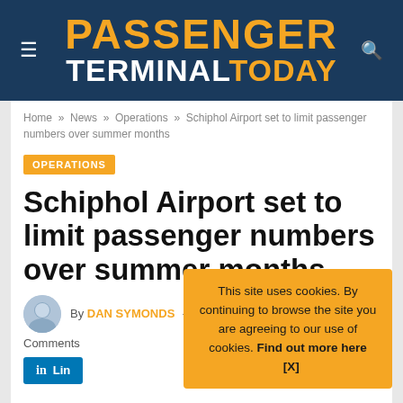PASSENGER TERMINAL TODAY
Home » News » Operations » Schiphol Airport set to limit passenger numbers over summer months
OPERATIONS
Schiphol Airport set to limit passenger numbers over summer months
By DAN SYMONDS — June 21, 2022  No Comments
This site uses cookies. By continuing to browse the site you are agreeing to our use of cookies. Find out more here [X]